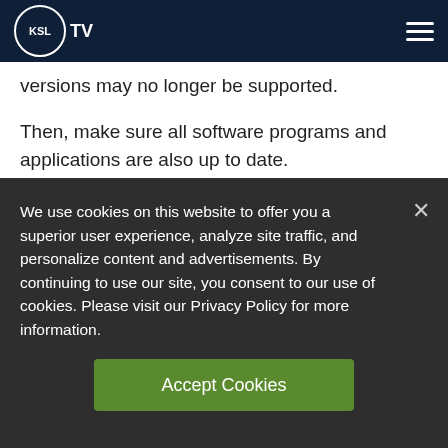KSL TV
...versions may no longer be supported.
Then, make sure all software programs and applications are also up to date.
Use Strong Passwords and Multi-Factor Authentication
We use cookies on this website to offer you a superior user experience, analyze site traffic, and personalize content and advertisements. By continuing to use our site, you consent to our use of cookies. Please visit our Privacy Policy for more information.
Accept Cookies